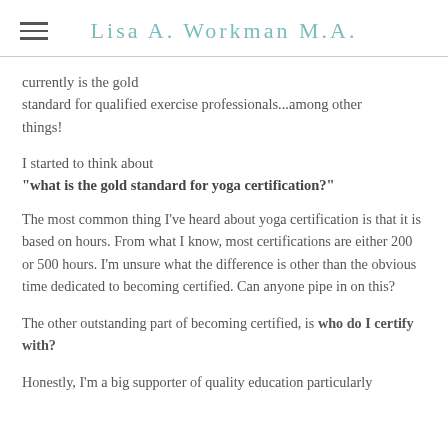Lisa A. Workman M.A.
currently is the gold standard for qualified exercise professionals...among other things!
I started to think about "what is the gold standard for yoga certification?"
The most common thing I've heard about yoga certification is that it is based on hours. From what I know, most certifications are either 200 or 500 hours. I'm unsure what the difference is other than the obvious time dedicated to becoming certified. Can anyone pipe in on this?
The other outstanding part of becoming certified, is who do I certify with?
Honestly, I'm a big supporter of quality education particularly